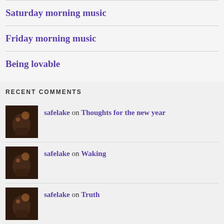Saturday morning music
Friday morning music
Being lovable
RECENT COMMENTS
safelake on Thoughts for the new year
safelake on Waking
safelake on Truth